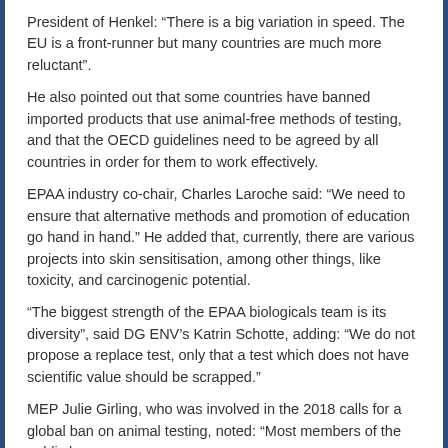President of Henkel: “There is a big variation in speed. The EU is a front-runner but many countries are much more reluctant”.
He also pointed out that some countries have banned imported products that use animal-free methods of testing, and that the OECD guidelines need to be agreed by all countries in order for them to work effectively.
EPAA industry co-chair, Charles Laroche said: “We need to ensure that alternative methods and promotion of education go hand in hand.” He added that, currently, there are various projects into skin sensitisation, among other things, like toxicity, and carcinogenic potential.
“The biggest strength of the EPAA biologicals team is its diversity”, said DG ENV’s Katrin Schotte, adding: “We do not propose a replace test, only that a test which does not have scientific value should be scrapped.”
MEP Julie Girling, who was involved in the 2018 calls for a global ban on animal testing, noted: “Most members of the public know about the need to stop the testing, and yet it seems the